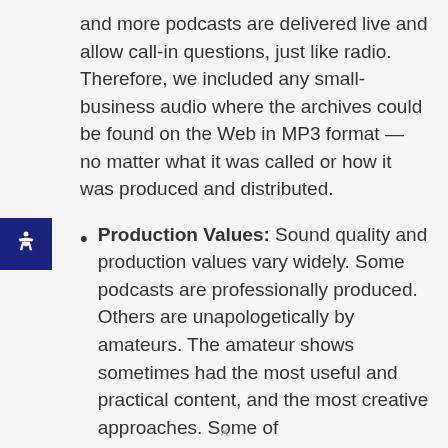and more podcasts are delivered live and allow call-in questions, just like radio. Therefore, we included any small-business audio where the archives could be found on the Web in MP3 format — no matter what it was called or how it was produced and distributed.
Production Values: Sound quality and production values vary widely. Some podcasts are professionally produced. Others are unapologetically by amateurs. The amateur shows sometimes had the most useful and practical content, and the most creative approaches. Some of